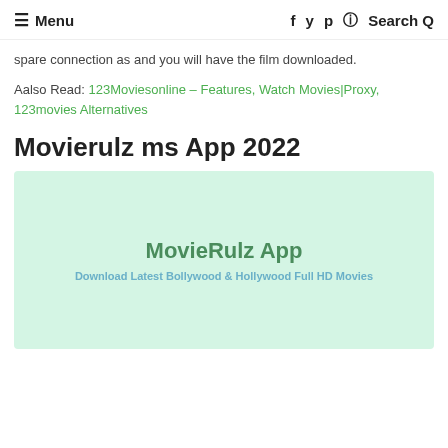≡ Menu   f  y  p  (instagram)  Search Q
spare connection as and you will have the film downloaded.
Aalso Read: 123Moviesonline – Features, Watch Movies|Proxy, 123movies Alternatives
Movierulz ms App 2022
[Figure (illustration): Light green banner image with 'MovieRulz App' as main title in green, and subtitle 'Download Latest Bollywood & Hollywood Full HD Movies' in teal/blue bold text.]